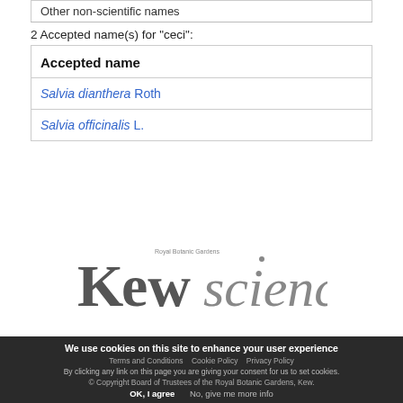| Other non-scientific names |
| --- |
2 Accepted name(s) for "ceci":
| Accepted name |
| --- |
| Salvia dianthera Roth |
| Salvia officinalis L. |
[Figure (logo): Kew Science logo — Royal Botanic Gardens Kew Science wordmark in grey]
We use cookies on this site to enhance your user experience
By clicking any link on this page you are giving your consent for us to set cookies.
Terms and Conditions  Cookie Policy  Privacy Policy
© Copyright Board of Trustees of the Royal Botanic Gardens, Kew.
OK, I agree   No, give me more info